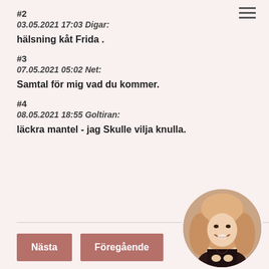#2
03.05.2021 17:03 Digar:
hälsning kåt Frida .
#3
07.05.2021 05:02 Net:
Samtal för mig vad du kommer.
#4
08.05.2021 18:55 Goltiran:
läckra mantel - jag Skulle vilja knulla.
[Figure (photo): Circular profile photo of a blonde woman in a black outfit]
Nästa
Föregående